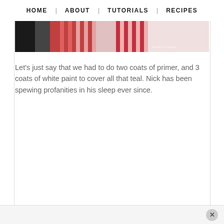HOME  |  ABOUT  |  TUTORIALS  |  RECIPES
[Figure (photo): Partial photo showing a person in a red/pink striped outfit with a watermark text in lower right corner]
Let's just say that we had to do two coats of primer, and 3 coats of white paint to cover all that teal. Nick has been spewing profanities in his sleep ever since.